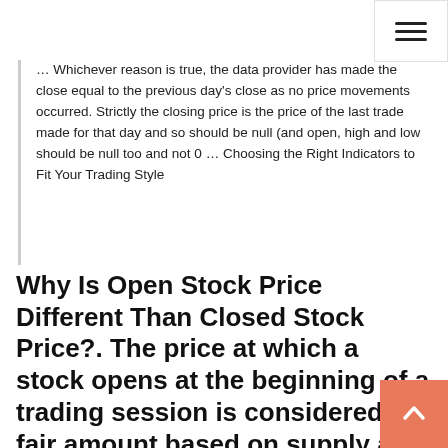… Whichever reason is true, the data provider has made the close equal to the previous day's close as no price movements occurred. Strictly the closing price is the price of the last trade made for that day and so should be null (and open, high and low should be null too and not 0 … Choosing the Right Indicators to Fit Your Trading Style
Why Is Open Stock Price Different Than Closed Stock Price?. The price at which a stock opens at the beginning of a trading session is considered a fair amount based on supply and demand for that security since the previous day's close. Investors continue to